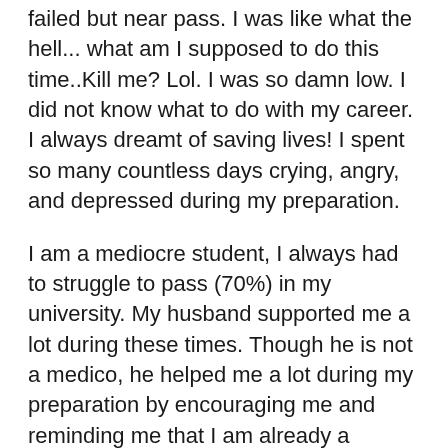failed but near pass. I was like what the hell... what am I supposed to do this time..Kill me? Lol. I was so damn low. I did not know what to do with my career. I always dreamt of saving lives! I spent so many countless days crying, angry, and depressed during my preparation.
I am a mediocre student, I always had to struggle to pass (70%) in my university. My husband supported me a lot during these times. Though he is not a medico, he helped me a lot during my preparation by encouraging me and reminding me that I am already a registered doctor in India and to never lose hope and keep fighting hard. We sat together to analyze my NBME score